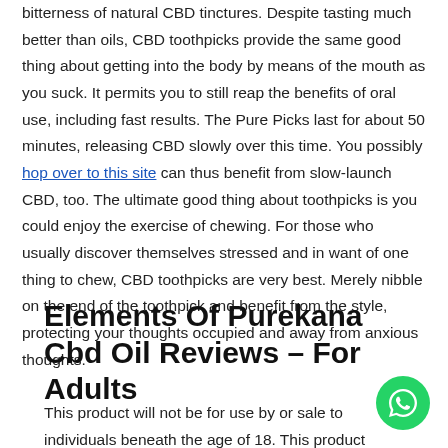bitterness of natural CBD tinctures. Despite tasting much better than oils, CBD toothpicks provide the same good thing about getting into the body by means of the mouth as you suck. It permits you to still reap the benefits of oral use, including fast results. The Pure Picks last for about 50 minutes, releasing CBD slowly over this time. You possibly hop over to this site can thus benefit from slow-launch CBD, too. The ultimate good thing about toothpicks is you could enjoy the exercise of chewing. For those who usually discover themselves stressed and in want of one thing to chew, CBD toothpicks are very best. Merely nibble on the end of the toothpick and benefit from the style, protecting your thoughts occupied and away from anxious thoughts.
Elements Of Purekana Cbd Oil Reviews – For Adults
This product will not be for use by or sale to individuals beneath the age of 18. This product should be used solely as directed on